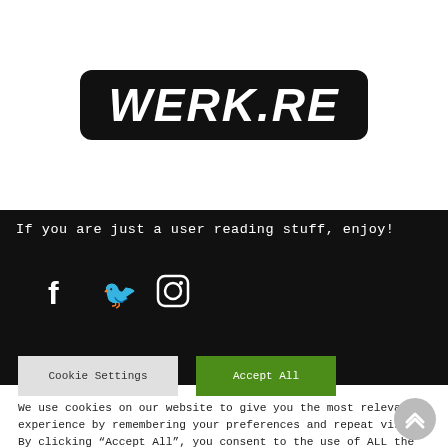[Figure (logo): WERK.RE logo: bold white italic text on black rounded rectangle background]
If you are just a user reading stuff, enjoy!
[Figure (illustration): Social media icons: Facebook (f), Twitter (bird), Instagram (camera) in white on dark background]
We use cookies on our website to give you the most relevant experience by remembering your preferences and repeat visits. By clicking “Accept All”, you consent to the use of ALL the cookies. However, you may visit “Cookie Settings” to provide a controlled consent.
Cookie Settings
Accept All